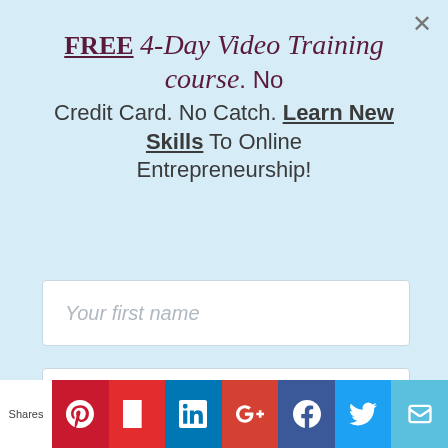FREE 4-Day Video Training course. No Credit Card. No Catch. Learn New Skills To Online Entrepreneurship!
[Figure (screenshot): Form input field with placeholder 'Your first name']
[Figure (screenshot): Form input field with placeholder 'Your email address']
[Figure (screenshot): Blue button labeled 'Send me the guide']
is the boat rocking here? Coming up next.
[Figure (infographic): Social share bar with Pinterest, Flipboard, LinkedIn, Google+, Facebook, Twitter, and mail icons. Shares label on left.]